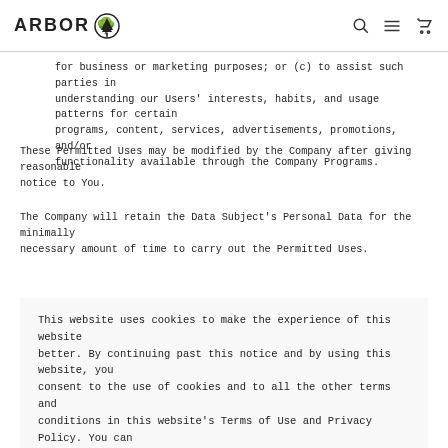ARBOR [logo with tree icon] [search icon] [menu icon] [cart icon]
for business or marketing purposes; or (c) to assist such parties in understanding our Users' interests, habits, and usage patterns for certain programs, content, services, advertisements, promotions, and/or functionality available through the Company Programs.
These Permitted Uses may be modified by the Company after giving reasonable notice to You.
The Company will retain the Data Subject's Personal Data for the minimally necessary amount of time to carry out the Permitted Uses.
This website uses cookies to make the experience of this website better. By continuing past this notice and by using this website, you consent to the use of cookies and to all the other terms and conditions in this website's Terms of Use and Privacy Policy. You can read our Privacy Policy and Terms of Use.